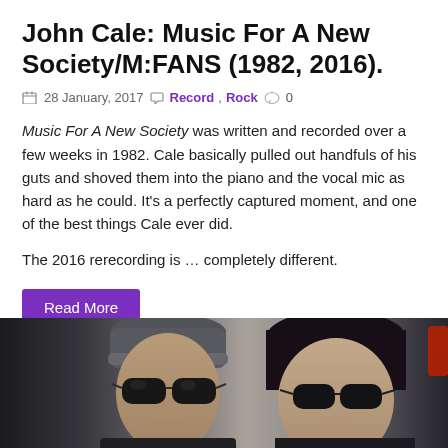John Cale: Music For A New Society/M:FANS (1982, 2016).
28 January, 2017  Record, Rock  0
Music For A New Society was written and recorded over a few weeks in 1982. Cale basically pulled out handfuls of his guts and shoved them into the piano and the vocal mic as hard as he could. It’s a perfectly captured moment, and one of the best things Cale ever did.

The 2016 rerecording is … completely different.
Read More
[Figure (photo): Two people wearing sunglasses and dark clothing, photographed close-up, partial crop at bottom of page]